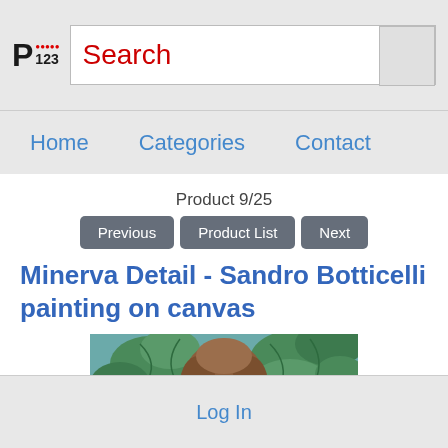P123 Search — Home   Categories   Contact
Product 9/25
Previous   Product List   Next
Minerva Detail - Sandro Botticelli painting on canvas
[Figure (photo): Close-up detail of Minerva painting by Sandro Botticelli, showing a figure with brown hair surrounded by green foliage against a teal/blue-green background.]
Log In